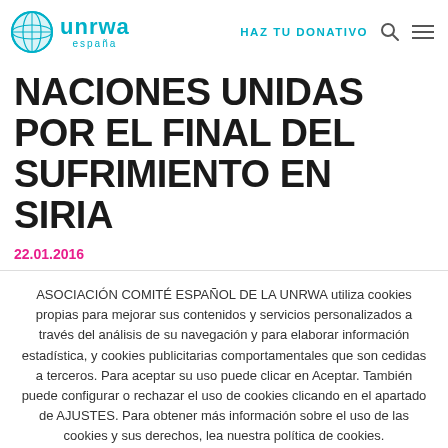UNRWA España — HAZ TU DONATIVO
NACIONES UNIDAS POR EL FINAL DEL SUFRIMIENTO EN SIRIA
22.01.2016
ASOCIACIÓN COMITÉ ESPAÑOL DE LA UNRWA utiliza cookies propias para mejorar sus contenidos y servicios personalizados a través del análisis de su navegación y para elaborar información estadística, y cookies publicitarias comportamentales que son cedidas a terceros. Para aceptar su uso puede clicar en Aceptar. También puede configurar o rechazar el uso de cookies clicando en el apartado de AJUSTES. Para obtener más información sobre el uso de las cookies y sus derechos, lea nuestra política de cookies.